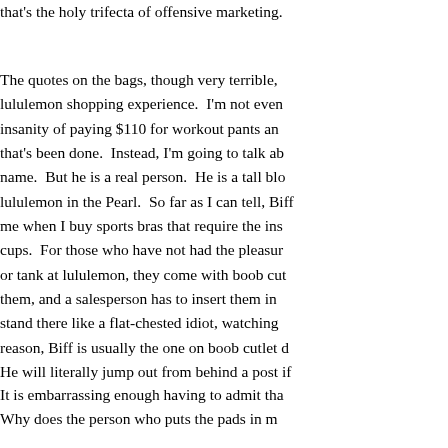that's the holy trifecta of offensive marketing.
The quotes on the bags, though very terrible, lululemon shopping experience.  I'm not even insanity of paying $110 for workout pants and that's been done.  Instead, I'm going to talk ab name.  But he is a real person.  He is a tall blo lululemon in the Pearl.  So far as I can tell, Biff me when I buy sports bras that require the ins cups.  For those who have not had the pleasur or tank at lululemon, they come with boob cut them, and a salesperson has to insert them in stand there like a flat-chested idiot, watching reason, Biff is usually the one on boob cutlet d He will literally jump out from behind a post i
It is embarrassing enough having to admit tha Why does the person who puts the pads in m